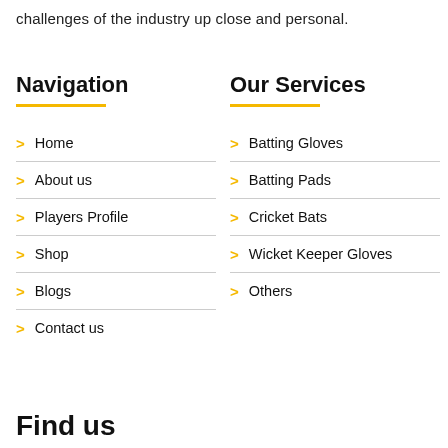challenges of the industry up close and personal.
Navigation
Home
About us
Players Profile
Shop
Blogs
Contact us
Our Services
Batting Gloves
Batting Pads
Cricket Bats
Wicket Keeper Gloves
Others
Find us